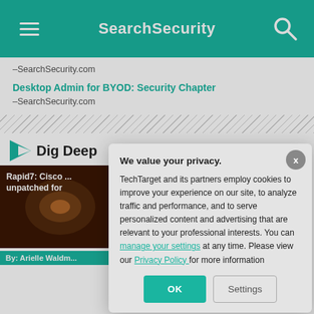SearchSecurity
–SearchSecurity.com
Desktop Admin for BYOD: Security Chapter
–SearchSecurity.com
Dig Deep
Rapid7: Cisco ... unpatched for
By: Arielle Waldm...
Researcher fin... firewalls
We value your privacy.
TechTarget and its partners employ cookies to improve your experience on our site, to analyze traffic and performance, and to serve personalized content and advertising that are relevant to your professional interests. You can manage your settings at any time. Please view our Privacy Policy for more information